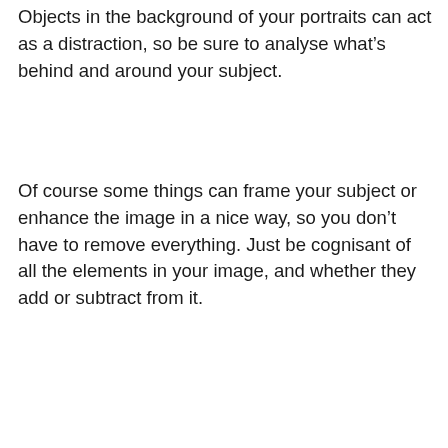Objects in the background of your portraits can act as a distraction, so be sure to analyse what's behind and around your subject.
Of course some things can frame your subject or enhance the image in a nice way, so you don't have to remove everything. Just be cognisant of all the elements in your image, and whether they add or subtract from it.